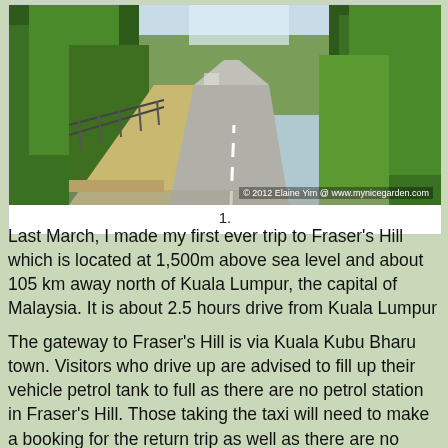[Figure (photo): A paved road through lush tropical greenery at Fraser's Hill, Malaysia. Trees line both sides of the road. A metal fence/railing is visible on the left side. The road stretches into the distance. Watermark reads: © 2012 Elaine Yim @ www.mynicegarden.com]
1.
Last March, I made my first ever trip to Fraser's Hill which is located at 1,500m above sea level and about 105 km away north of Kuala Lumpur, the capital of Malaysia. It is about 2.5 hours drive from Kuala Lumpur
The gateway to Fraser's Hill is via Kuala Kubu Bharu town. Visitors who drive up are advised to fill up their vehicle petrol tank to full as there are no petrol station in Fraser's Hill. Those taking the taxi will need to make a booking for the return trip as well as there are no public transport at the